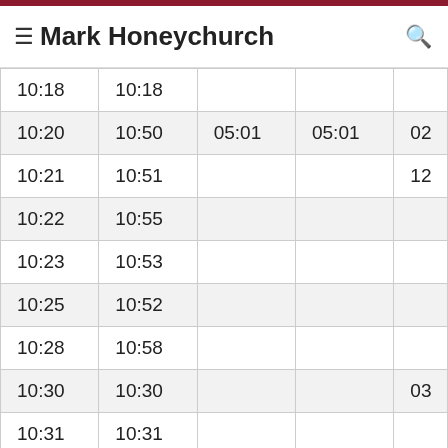Mark Honeychurch
| 10:18 | 10:18 |  |  |  |
| 10:20 | 10:50 | 05:01 | 05:01 | 02 |
| 10:21 | 10:51 |  |  | 12 |
| 10:22 | 10:55 |  |  |  |
| 10:23 | 10:53 |  |  |  |
| 10:25 | 10:52 |  |  |  |
| 10:28 | 10:58 |  |  |  |
| 10:30 | 10:30 |  |  | 03 |
| 10:31 | 10:31 |  |  |  |
| 10:32 | 10:35 |  |  |  |
| 10:33 | 10:33 |  |  |  |